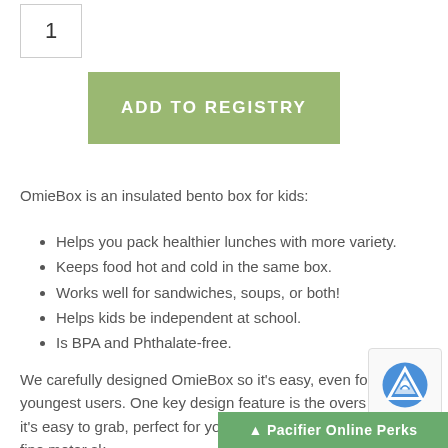1
ADD TO REGISTRY
OmieBox is an insulated bento box for kids:
Helps you pack healthier lunches with more variety.
Keeps food hot and cold in the same box.
Works well for sandwiches, soups, or both!
Helps kids be independent at school.
Is BPA and Phthalate-free.
We carefully designed OmieBox so it's easy, even for our youngest users. One key design feature is the overs handle - it's easy to grab, perfect for young children are still developing fine motor sk